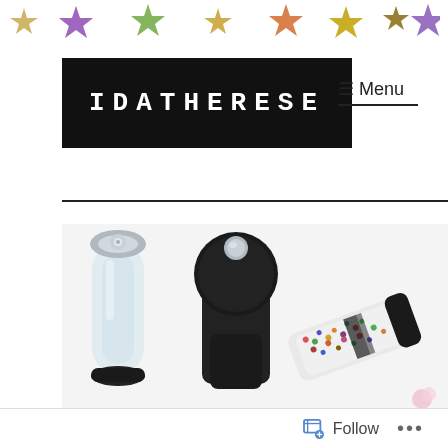[Figure (illustration): Row of colorful glitter stars across the top of the page as decorative banner]
[Figure (logo): IDATHERESE logo: white monospace/typewriter text on black rectangle background]
≡ Menu
[Figure (photo): Flat lay photo of kitchen grinders/mills on white background: a glass salt mill on left, a black pepper mill in center, and a colorful peppercorn grinder lying on its side on right]
Follow